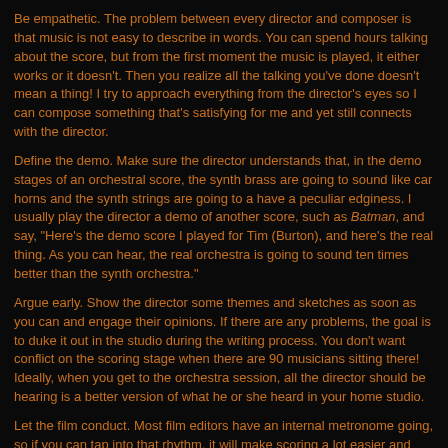Be empathetic. The problem between every director and composer is that music is not easy to describe in words. You can spend hours talking about the score, but from the first moment the music is played, it either works or it doesn't. Then you realize all the talking you've done doesn't mean a thing! I try to approach everything from the director's eyes so I can compose something that's satisfying for me and yet still connects with the director.
Define the demo. Make sure the director understands that, in the demo stages of an orchestral score, the synth brass are going to sound like car horns and the synth strings are going to a have a peculiar edginess. I usually play the director a demo of another score, such as Batman, and say, "Here's the demo score I played for Tim (Burton), and here's the real thing. As you can hear, the real orchestra is going to sound ten times better than the synth orchestra."
Argue early. Show the director some themes and sketches as soon as you can and engage their opinions. If there are any problems, the goal is to duke it out in the studio during the writing process. You don't want conflict on the scoring stage when there are 90 musicians sitting there! Ideally, when you get to the orchestra session, all the director should be hearing is a better version of what he or she heard in your home studio.
Let the film conduct. Most film editors have an internal metronome going, so if you can tap into that rhythm, it will make scoring a lot easier and more fun. In fact, if you're out of sync with the film editor, it will be very hard to make the picture work. Once I lock into the editor's rhythm, though, it's easy to make all my hits match perfectly to the action onscreen.
Back to The Elfman Zone